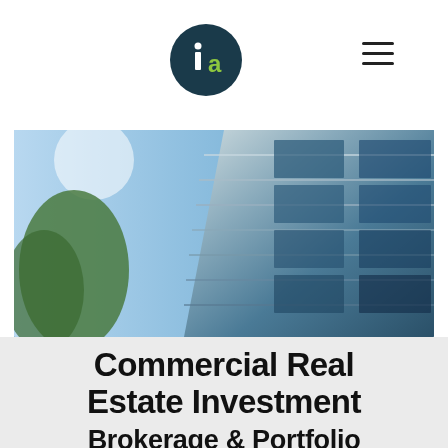[Figure (logo): Circular dark teal logo with stylized 'ia' letters in white, representing a real estate investment firm]
[Figure (photo): Upward-angled photograph of a modern glass and steel commercial office building against a blue sky with trees visible at left]
Commercial Real Estate Investment
Brokerage & Portfolio Management
Full-service brokerage servicing the Salt Lake City metropolitan area since 2008. Our core clients include high net worth investors, family offices, corporate tenants, private equity, & sponsors in the Utah